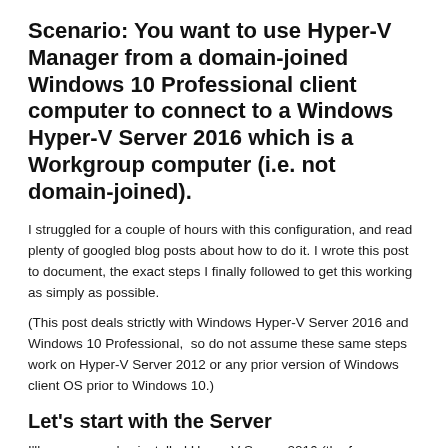Scenario: You want to use Hyper-V Manager from a domain-joined Windows 10 Professional client computer to connect to a Windows Hyper-V Server 2016 which is a Workgroup computer (i.e. not domain-joined).
I struggled for a couple of hours with this configuration, and read plenty of googled blog posts about how to do it. I wrote this post to document, the exact steps I finally followed to get this working as simply as possible.
(This post deals strictly with Windows Hyper-V Server 2016 and Windows 10 Professional,  so do not assume these same steps work on Hyper-V Server 2012 or any prior version of Windows client OS prior to Windows 10.)
Let's start with the Server
I'll assume you've installed Hyper-V Server 2016 (the free